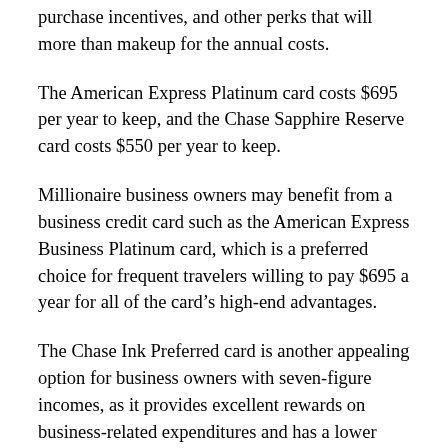purchase incentives, and other perks that will more than makeup for the annual costs.
The American Express Platinum card costs $695 per year to keep, and the Chase Sapphire Reserve card costs $550 per year to keep.
Millionaire business owners may benefit from a business credit card such as the American Express Business Platinum card, which is a preferred choice for frequent travelers willing to pay $695 a year for all of the card’s high-end advantages.
The Chase Ink Preferred card is another appealing option for business owners with seven-figure incomes, as it provides excellent rewards on business-related expenditures and has a lower annual fee ($95) than the American Express Business Platinum card.